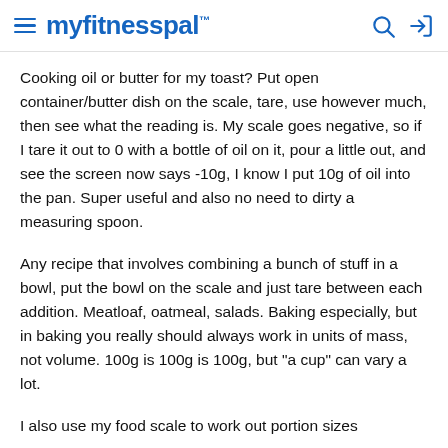myfitnesspal
Cooking oil or butter for my toast? Put open container/butter dish on the scale, tare, use however much, then see what the reading is. My scale goes negative, so if I tare it out to 0 with a bottle of oil on it, pour a little out, and see the screen now says -10g, I know I put 10g of oil into the pan. Super useful and also no need to dirty a measuring spoon.
Any recipe that involves combining a bunch of stuff in a bowl, put the bowl on the scale and just tare between each addition. Meatloaf, oatmeal, salads. Baking especially, but in baking you really should always work in units of mass, not volume. 100g is 100g is 100g, but "a cup" can vary a lot.
I also use my food scale to work out portion sizes